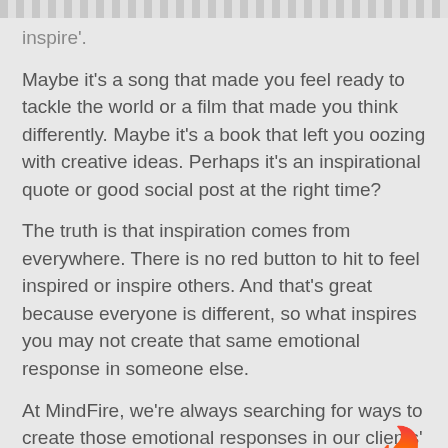inspire'.
Maybe it's a song that made you feel ready to tackle the world or a film that made you think differently. Maybe it's a book that left you oozing with creative ideas. Perhaps it's an inspirational quote or good social post at the right time?
The truth is that inspiration comes from everywhere. There is no red button to hit to feel inspired or inspire others. And that's great because everyone is different, so what inspires you may not create that same emotional response in someone else.
At MindFire, we're always searching for ways to create those emotional responses in our clients' target audiences. How do we inspire them to take a specific action? Well, it takes a lot of inspired Arsonists to figure that out. If